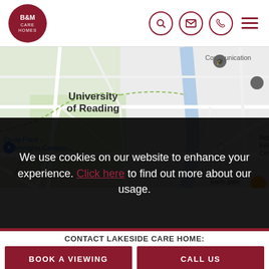[Figure (logo): B&M Care Homes circular logo with dark red background]
[Figure (screenshot): Google Maps screenshot showing University of Reading area with roads, Co-op Food Whiteknights Campus, Erlegh House, Communication, Early gate markers]
We use cookies on our website to enhance your experience. Click here to find out more about our usage.
CONTACT LAKESIDE CARE HOME:
BOOK A VIEWING
CALL US